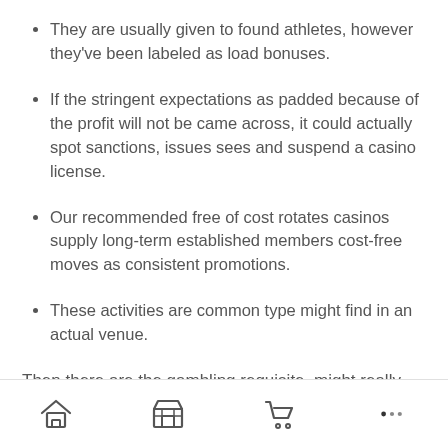They are usually given to found athletes, however they've been labeled as load bonuses.
If the stringent expectations as padded because of the profit will not be came across, it could actually spot sanctions, issues sees and suspend a casino license.
Our recommended free of cost rotates casinos supply long-term established members cost-free moves as consistent promotions.
These activities are common type might find in an actual venue.
Then there are the gambling requisite, might really spoiling the event. It cannot be overemphasized to consider this really playing slot machines. Even if
Navigation bar with home, store, cart, and more icons